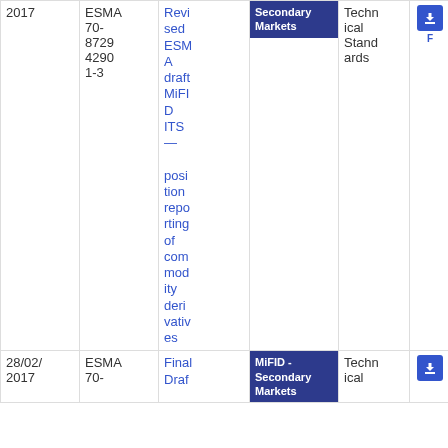| Date | Reference | Title | Topic | Type | Icon | Download |
| --- | --- | --- | --- | --- | --- | --- |
| 2017 | ESMA 70-872942901-3 | Revised ESMA draft MiFID ITS — position reporting of commodity derivatives | Secondary Markets | Technical Standards |  | 18
4.48 KB |
| 28/02/2017 | ESMA 70- | Final Draf | MiFID - Secondary Markets | Technical |  | PDF |